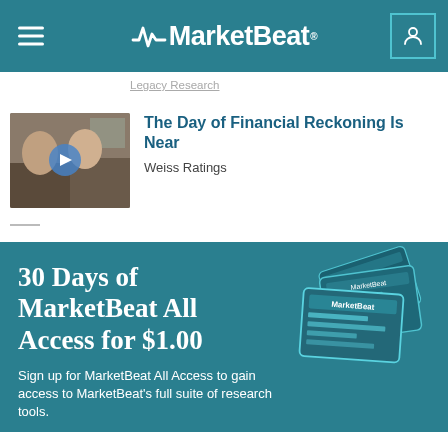MarketBeat
Legacy Research
The Day of Financial Reckoning Is Near
Weiss Ratings
[Figure (illustration): Promotional banner for MarketBeat All Access subscription showing devices with MarketBeat interface. Text reads: 30 Days of MarketBeat All Access for $1.00. Sign up for MarketBeat All Access to gain access to MarketBeat's full suite of research tools.]
30 Days of MarketBeat All Access for $1.00
Sign up for MarketBeat All Access to gain access to MarketBeat's full suite of research tools.